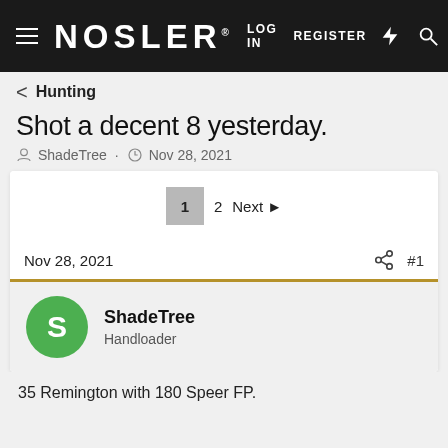NOSLER® LOG IN REGISTER
Hunting
Shot a decent 8 yesterday.
ShadeTree · Nov 28, 2021
1 2 Next
Nov 28, 2021 #1
ShadeTree
Handloader
35 Remington with 180 Speer FP.